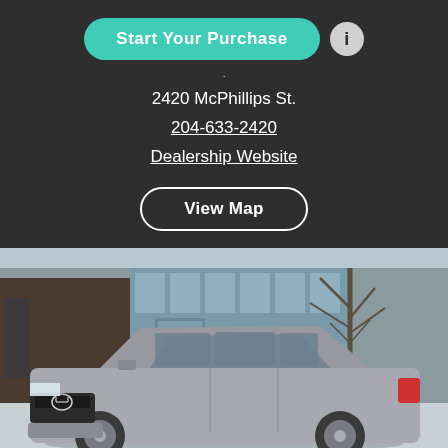Start Your Purchase
2420 McPhillips St.
204-633-2420
Dealership Website
View Map
[Figure (photo): Exterior photo of a Hyundai dealership with a silver Hyundai Santa Fe SUV parked in front. The dealership building has glass windows and a Hyundai logo sign. There is a bare winter tree visible in the background.]